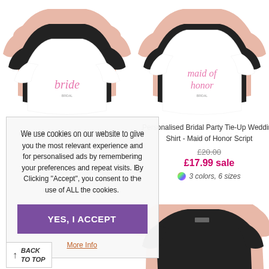[Figure (photo): Stack of three t-shirts (pink, black, white) with 'bride' script on the front white shirt]
[Figure (photo): Stack of three t-shirts (pink, black, white) with 'maid of honor' script on the front white shirt]
We use cookies on our website to give you the most relevant experience and for personalised ads by remembering your preferences and repeat visits. By Clicking "Accept", you consent to the use of ALL the cookies.
YES, I ACCEPT
More Info
BACK TO TOP
Personalised Bridal Party Tie-Up Wedding Shirt - Maid of Honor Script
£20.00
£17.99 sale
3 colors, 6 sizes
[Figure (photo): Stack of t-shirts (pink, black) partially visible at bottom right]